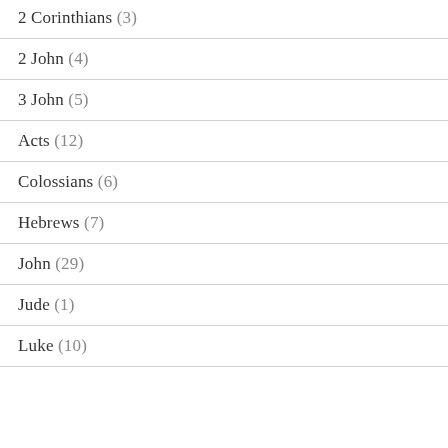2 Corinthians (3)
2 John (4)
3 John (5)
Acts (12)
Colossians (6)
Hebrews (7)
John (29)
Jude (1)
Luke (10)